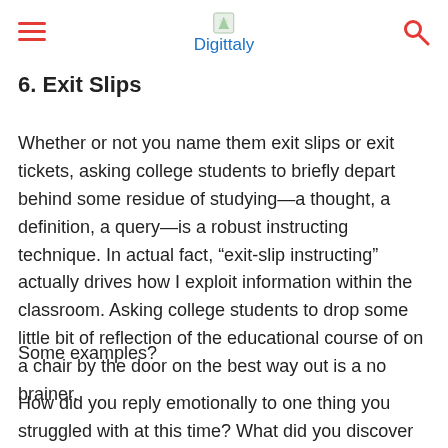Digittaly
6. Exit Slips
Whether or not you name them exit slips or exit tickets, asking college students to briefly depart behind some residue of studying—a thought, a definition, a query—is a robust instructing technique. In actual fact, “exit-slip instructing” actually drives how I exploit information within the classroom. Asking college students to drop some little bit of reflection of the educational course of on a chair by the door on the best way out is a no brainer.
Some examples?
How did you reply emotionally to one thing you struggled with at this time? What did you discover most stunning